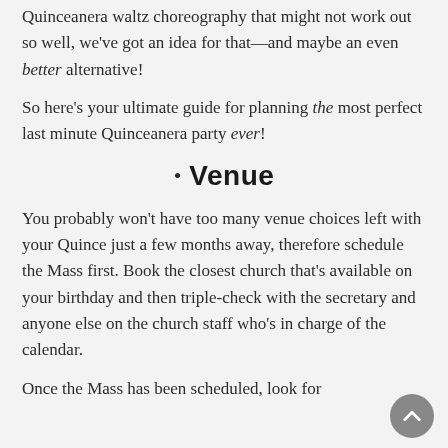Quinceanera waltz choreography that might not work out so well, we've got an idea for that—and maybe an even better alternative!
So here's your ultimate guide for planning the most perfect last minute Quinceanera party ever!
• Venue
You probably won't have too many venue choices left with your Quince just a few months away, therefore schedule the Mass first. Book the closest church that's available on your birthday and then triple-check with the secretary and anyone else on the church staff who's in charge of the calendar.
Once the Mass has been scheduled, look for